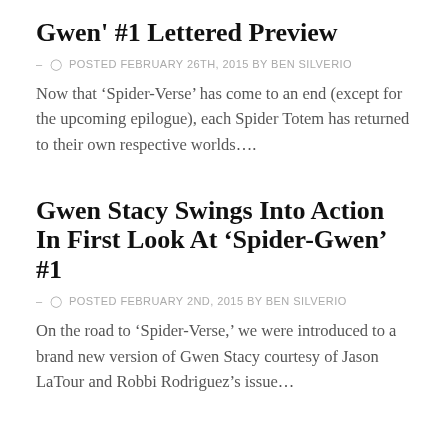Gwen' #1 Lettered Preview
– ⊙ POSTED FEBRUARY 26TH, 2015 BY BEN SILVERIO
Now that 'Spider-Verse' has come to an end (except for the upcoming epilogue), each Spider Totem has returned to their own respective worlds....
Gwen Stacy Swings Into Action In First Look At 'Spider-Gwen' #1
– ⊙ POSTED FEBRUARY 2ND, 2015 BY BEN SILVERIO
On the road to 'Spider-Verse,' we were introduced to a brand new version of Gwen Stacy courtesy of Jason LaTour and Robbi Rodriguez's issue…